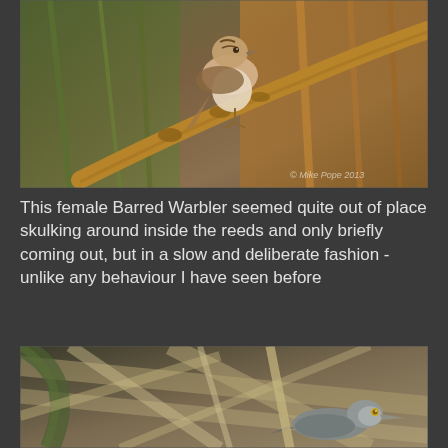[Figure (photo): Close-up photograph of a female Barred Warbler perched on a reed/bamboo stem, surrounded by green and orange reeds. Watermark reads '© Mike Pope 2013' in bottom right corner.]
This female Barred Warbler seemed quite out of place skulking around inside the reeds and only briefly coming out, but in a slow and deliberate fashion - unlike any behaviour I have seen before
[Figure (photo): Photograph of a small grey-brown bird (female Barred Warbler) skulking low among reed stems and dried grasses, partially obscured, with a yellow eye visible.]